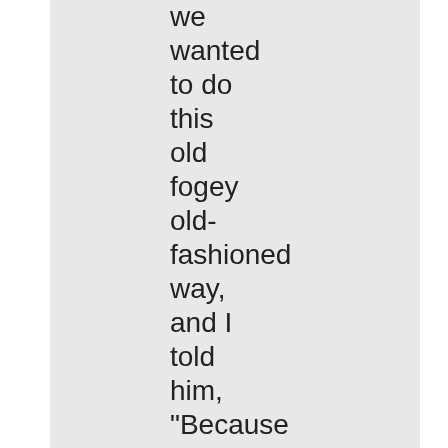we wanted to do this old fogey old-fashioned way, and I told him, "Because that's great. That's what I want." He was very unhappy about it, very bad mood, and, sort of this old guy, and he